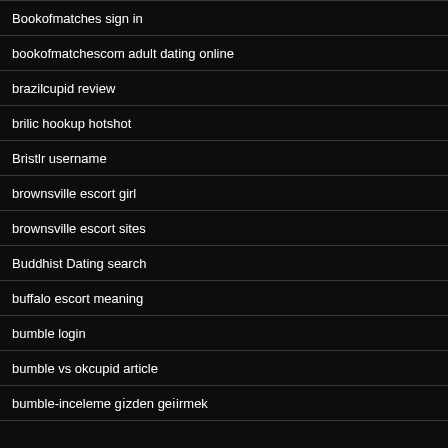Bookofmatches sign in
bookofmatchescom adult dating online
brazilcupid review
brilic hookup hotshot
Bristlr username
brownsville escort girl
brownsville escort sites
Buddhist Dating search
buffalo escort meaning
bumble login
bumble vs okcupid article
bumble-inceleme gözden geçirmek